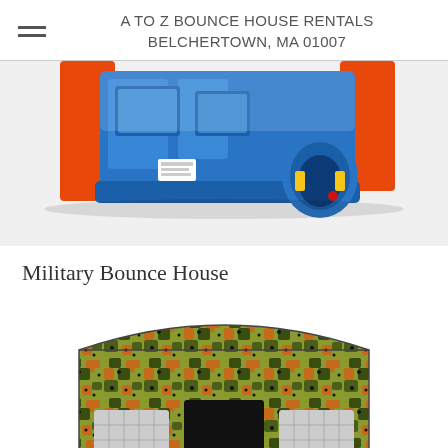A TO Z BOUNCE HOUSE RENTALS BELCHERTOWN, MA 01007
[Figure (photo): Blue and orange inflatable bounce house combo unit with tunnel entrance and windows, partially cropped at top]
Military Bounce House
[Figure (photo): Military camouflage-patterned inflatable bounce house shaped like a building/barracks with mesh windows and black entrance, partially cropped at bottom]